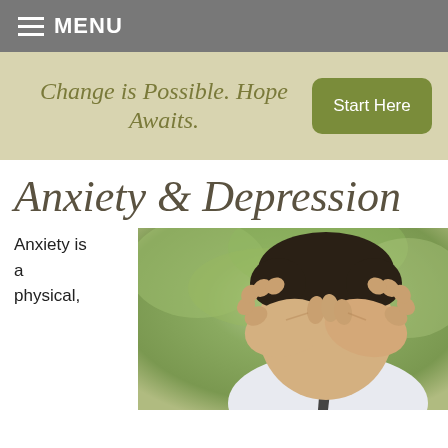MENU
Change is Possible. Hope Awaits.
Start Here
Anxiety & Depression
Anxiety is a physical,
[Figure (photo): A man covering his face with his hands, wearing a white shirt and tie, with a blurred green outdoor background. He appears distressed.]